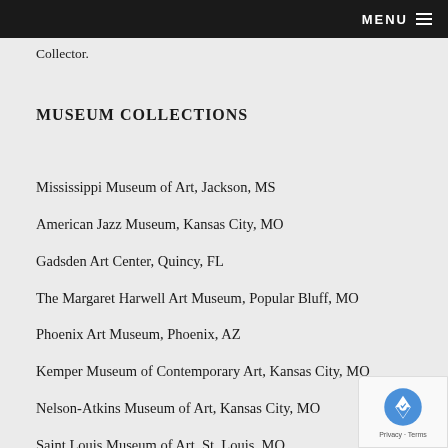MENU ☰
Collector.
MUSEUM COLLECTIONS
Mississippi Museum of Art, Jackson, MS
American Jazz Museum, Kansas City, MO
Gadsden Art Center, Quincy, FL
The Margaret Harwell Art Museum, Popular Bluff, MO
Phoenix Art Museum, Phoenix, AZ
Kemper Museum of Contemporary Art, Kansas City, MO
Nelson-Atkins Museum of Art, Kansas City, MO
Saint Louis Museum of Art, St. Louis, MO